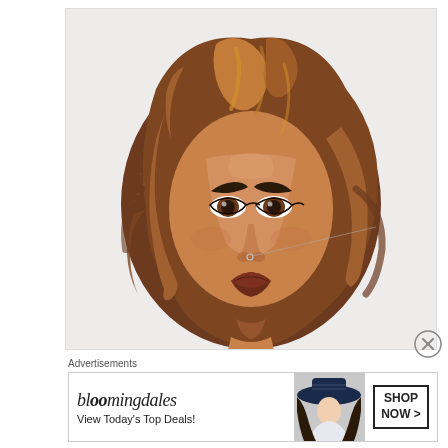[Figure (illustration): Digital illustration / caricature artwork of a woman with wavy brown hair with highlights, dark eyes with dramatic makeup, a nose ring, and full lips, rendered in a stylized cartoon portrait style against a light grey background. A thin line extends from the nose ring area to the right side of the image.]
Advertisements
[Figure (other): Bloomingdale's advertisement banner. Shows the Bloomingdale's logo in stylized italic font, tagline 'View Today's Top Deals!', an image of a woman in a wide-brimmed hat, and a 'SHOP NOW >' call-to-action button in a black-bordered box.]